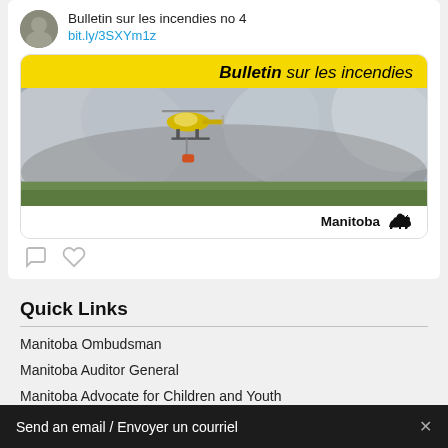Bulletin sur les incendies no 4
bit.ly/3SXYm1z
[Figure (photo): A card showing a bulletin cover with yellow header reading 'Bulletin sur les incendies', a photo of a helicopter over a smoky wildfire landscape, and the Manitoba bison logo at the bottom.]
Quick Links
Manitoba Ombudsman
Manitoba Auditor General
Manitoba Advocate for Children and Youth
Manitoba Public Insurance
Manitoba Hydro
Manitoba Liqu
Send an email / Envoyer un courriel